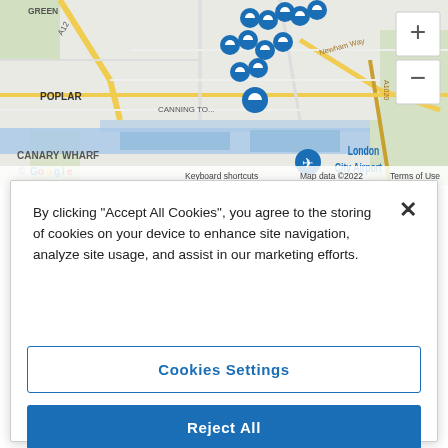[Figure (map): Google Maps screenshot showing east London area including Poplar, Canary Wharf, Canning Town, and London City Airport, with multiple blue map pin markers clustered in the Bow/Plaistow area. Zoom controls (+ and -) visible top right. Map attribution: Keyboard shortcuts, Map data ©2022, Terms of Use. Google logo bottom left.]
By clicking "Accept All Cookies", you agree to the storing of cookies on your device to enhance site navigation, analyze site usage, and assist in our marketing efforts.
Cookies Settings
Reject All
Accept All Cookies